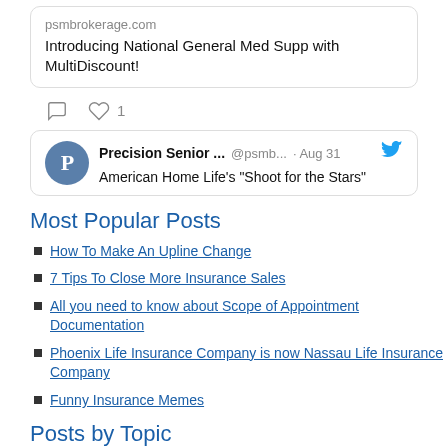[Figure (screenshot): Tweet card showing psmbrokerage.com link with text 'Introducing National General Med Supp with MultiDiscount!' and comment/like icons with 1 like]
[Figure (screenshot): Tweet from Precision Senior ... @psmb... Aug 31 with Twitter bird icon, text: American Home Life's "Shoot for the Stars"]
Most Popular Posts
How To Make An Upline Change
7 Tips To Close More Insurance Sales
All you need to know about Scope of Appointment Documentation
Phoenix Life Insurance Company is now Nassau Life Insurance Company
Funny Insurance Memes
Posts by Topic
October 2018 (79)
November 2018 (42)